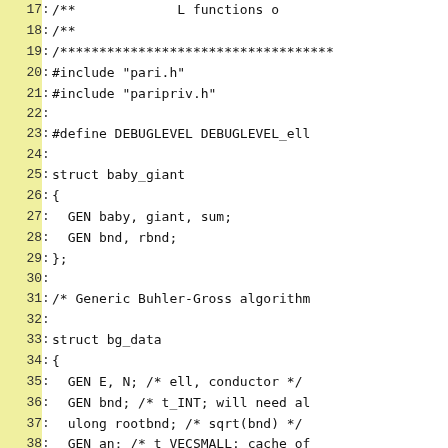Source code listing, lines 17-46, showing struct definitions and typedefs for elliptic curve L-functions implementation including baby_giant and bg_data structs.